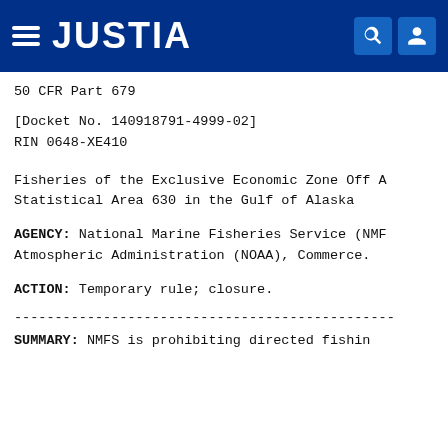JUSTIA
50 CFR Part 679
[Docket No. 140918791-4999-02]
RIN 0648-XE410
Fisheries of the Exclusive Economic Zone Off A... Statistical Area 630 in the Gulf of Alaska
AGENCY: National Marine Fisheries Service (NMFS), Atmospheric Administration (NOAA), Commerce.
ACTION: Temporary rule; closure.
-------------------------------------------------------
SUMMARY: NMFS is prohibiting directed fishing...